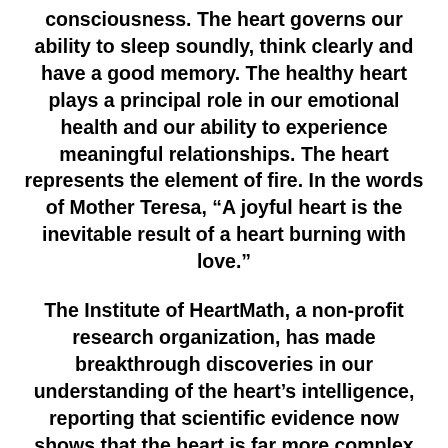consciousness. The heart governs our ability to sleep soundly, think clearly and have a good memory. The healthy heart plays a principal role in our emotional health and our ability to experience meaningful relationships. The heart represents the element of fire. In the words of Mother Teresa, “A joyful heart is the inevitable result of a heart burning with love.”
The Institute of HeartMath, a non-profit research organization, has made breakthrough discoveries in our understanding of the heart’s intelligence, reporting that scientific evidence now shows that the heart is far more complex than we’d ever imagined, sending us emotional and intuitive signals to help govern our lives. The heart is much more than an organ that pumps blood, directing and aligning many